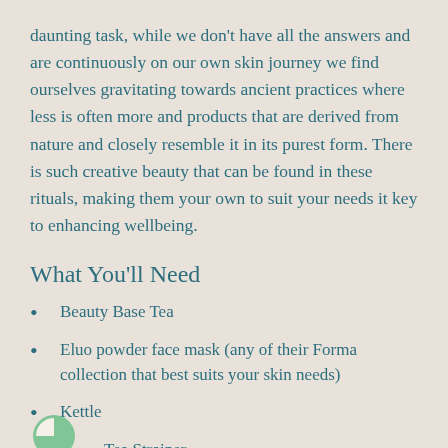daunting task, while we don't have all the answers and are continuously on our own skin journey we find ourselves gravitating towards ancient practices where less is often more and products that are derived from nature and closely resemble it in its purest form. There is such creative beauty that can be found in these rituals, making them your own to suit your needs it key to enhancing wellbeing.
What You'll Need
Beauty Base Tea
Eluo powder face mask (any of their Forma collection that best suits your skin needs)
Kettle
Tea Strainer